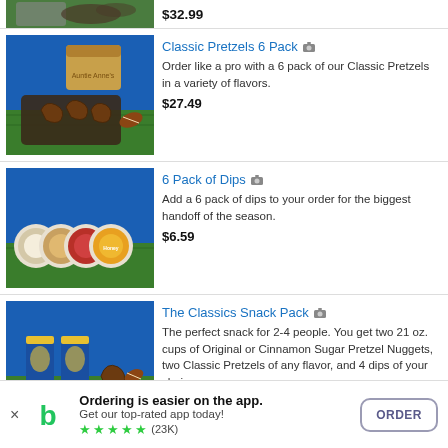[Figure (photo): Partial product image at top, cut off, showing food item on grass background]
$32.99
[Figure (photo): Classic Pretzels 6 Pack product photo on blue and grass background with pretzel tray and box]
Classic Pretzels 6 Pack
Order like a pro with a 6 pack of our Classic Pretzels in a variety of flavors.
$27.49
[Figure (photo): 6 Pack of Dips product photo showing multiple dip containers on grass background]
6 Pack of Dips
Add a 6 pack of dips to your order for the biggest handoff of the season.
$6.59
[Figure (photo): The Classics Snack Pack product photo showing cups, pretzels and dips on blue and grass background]
The Classics Snack Pack
The perfect snack for 2-4 people. You get two 21 oz. cups of Original or Cinnamon Sugar Pretzel Nuggets, two Classic Pretzels of any flavor, and 4 dips of your choice.
$25.99
Snack Packs for 4 (or more!)
Ordering is easier on the app. Get our top-rated app today! ★★★★★ (23K)